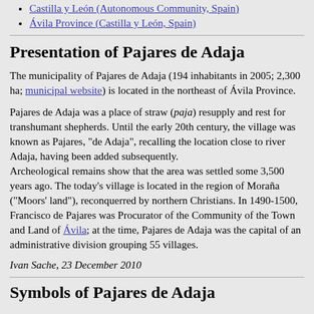Castilla y León (Autonomous Community, Spain)
Ávila Province (Castilla y León, Spain)
Presentation of Pajares de Adaja
The municipality of Pajares de Adaja (194 inhabitants in 2005; 2,300 ha; municipal website) is located in the northeast of Ávila Province.
Pajares de Adaja was a place of straw (paja) resupply and rest for transhumant shepherds. Until the early 20th century, the village was known as Pajares, "de Adaja", recalling the location close to river Adaja, having been added subsequently. Archeological remains show that the area was settled some 3,500 years ago. The today's village is located in the region of Moraña ("Moors' land"), reconquerred by northern Christians. In 1490-1500, Francisco de Pajares was Procurator of the Community of the Town and Land of Ávila; at the time, Pajares de Adaja was the capital of an administrative division grouping 55 villages.
Ivan Sache, 23 December 2010
Symbols of Pajares de Adaja